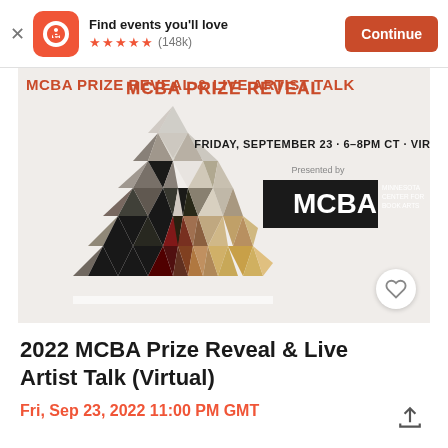Find events you'll love ★★★★★ (148k) Continue
[Figure (screenshot): MCBA Prize Reveal & Live Artist Talk event banner. Shows 'MCBA PRIZE REVEAL & LIVE ARTIST TALK' text at top in red/orange. Large geometric triangle made of smaller triangles with various textures. Text reads: FRIDAY, SEPTEMBER 23 · 6–8PM CT · VIRTUAL. Presented by MCBA Minnesota Center for Book Arts logo.]
2022 MCBA Prize Reveal & Live Artist Talk (Virtual)
Fri, Sep 23, 2022 11:00 PM GMT